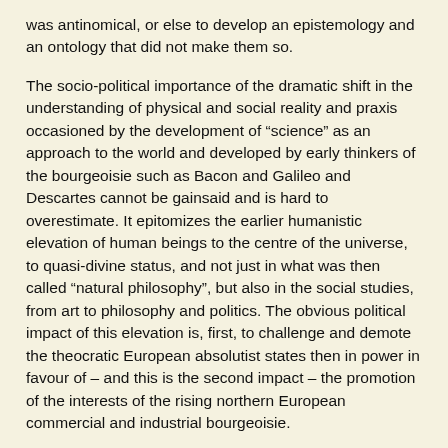was antinomical, or else to develop an epistemology and an ontology that did not make them so.
The socio-political importance of the dramatic shift in the understanding of physical and social reality and praxis occasioned by the development of “science” as an approach to the world and developed by early thinkers of the bourgeoisie such as Bacon and Galileo and Descartes cannot be gainsaid and is hard to overestimate. It epitomizes the earlier humanistic elevation of human beings to the centre of the universe, to quasi-divine status, and not just in what was then called “natural philosophy”, but also in the social studies, from art to philosophy and politics. The obvious political impact of this elevation is, first, to challenge and demote the theocratic European absolutist states then in power in favour of – and this is the second impact – the promotion of the interests of the rising northern European commercial and industrial bourgeoisie.
As we have just seen, from the outset, the Cartesian theorization of science and technology is based on